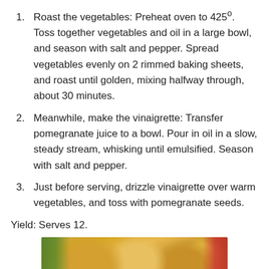Roast the vegetables: Preheat oven to 425°. Toss together vegetables and oil in a large bowl, and season with salt and pepper.  Spread vegetables evenly on 2 rimmed baking sheets, and roast until golden, mixing halfway through, about 30 minutes.
Meanwhile, make the vinaigrette: Transfer pomegranate juice to a bowl. Pour in oil in a slow, steady stream, whisking until emulsified.  Season with salt and pepper.
Just before serving, drizzle vinaigrette over warm vegetables, and toss with pomegranate seeds.
Yield: Serves 12.
[Figure (photo): A photo of golden-brown baked bread rolls or dumplings piled together, with green vegetables visible on the left and red items on the right background.]